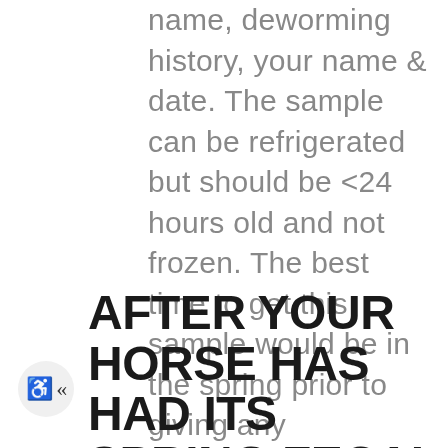name, deworming history, your name & date. The sample can be refrigerated but should be <24 hours old and not frozen. The best time to get this sample would be in the spring prior to giving any dewormers; it must be a minimum of 9 weeks after fenbendazole/oxibendazole/pyrantel pamoate, 12 weeks after giving any ivermectin product, or 16 weeks after giving moxidectin. You can bring these samples to the office or we would be happy to collect them during your horse's spring visit.
AFTER YOUR HORSE HAS HAD ITS SPRING FECAL